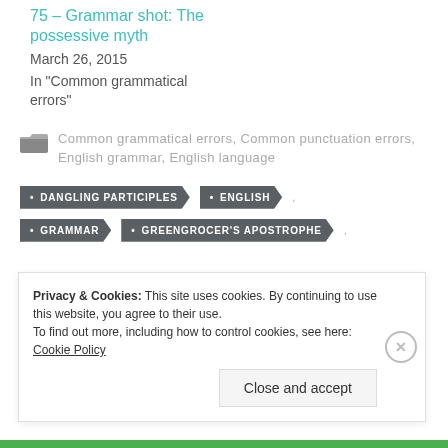75 – Grammar shot: The possessive myth
March 26, 2015
In "Common grammatical errors"
Common grammatical errors, Common punctuation errors, English grammar, English language
DANGLING PARTICIPLES
ENGLISH
GRAMMAR
GREENGROCER'S APOSTROPHE
Privacy & Cookies: This site uses cookies. By continuing to use this website, you agree to their use. To find out more, including how to control cookies, see here: Cookie Policy
Close and accept